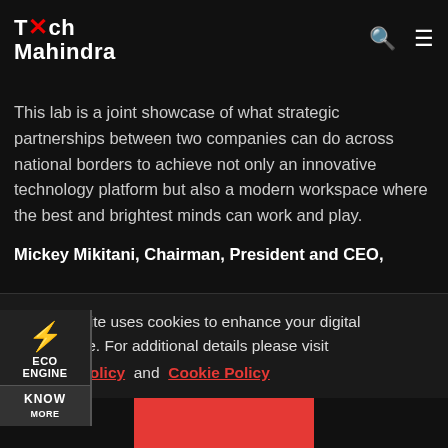Tech Mahindra
network experience for customers.
This lab is a joint showcase of what strategic partnerships between two companies can do across national borders to achieve not only an innovative technology platform but also a modern workspace where the best and brightest minds can work and play.
Mickey Mikitani, Chairman, President and CEO, Rakuten, Inc., said, “Rakuten is working towards the launch of the world’s first fully virtualized, end-to-end cloud-native mobile network. Our collaboration with Tech Mahindra on this world-class lab will allow us to drive innovation and disruption in the mobile industry, and take one step closer to providing consumers with a broad
[Figure (infographic): ECO ENGINE widget with lightning bolt icon and KNOW MORE label]
This website uses cookies to enhance your digital experience. For additional details please visit Privacy Policy and Cookie Policy